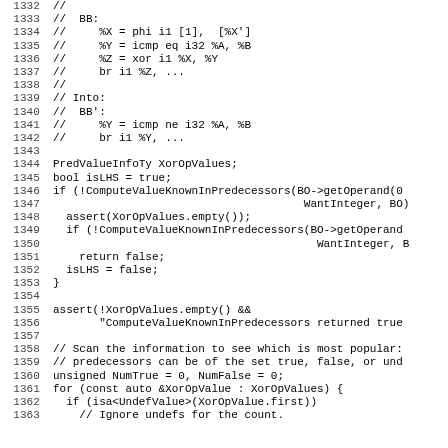[Figure (screenshot): Source code listing showing lines 1332-1363 of a C++ file, with line numbers on the left and code/comments on the right, monospace font on white background.]